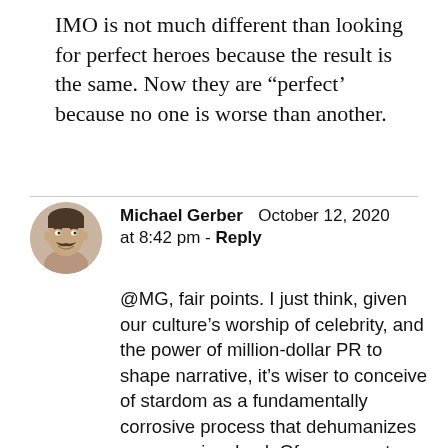IMO is not much different than looking for perfect heroes because the result is the same. Now they are “perfect’ because no one is worse than another.
Michael Gerber  October 12, 2020 at 8:42 pm - Reply
[Figure (photo): Circular avatar photo of Michael Gerber, a man with a mustache smiling]
@MG, fair points. I just think, given our culture’s worship of celebrity, and the power of million-dollar PR to shape narrative, it’s wiser to conceive of stardom as a fundamentally corrosive process that dehumanizes everyone involved. Of course not everybody turns into an absolute monster, nor is a monster in the same way. But to